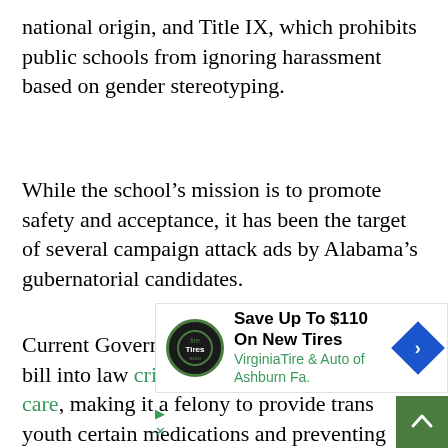national origin, and Title IX, which prohibits public schools from ignoring harassment based on gender stereotyping.
While the school's mission is to promote safety and acceptance, it has been the target of several campaign attack ads by Alabama's gubernatorial candidates.
Current Governor Kay Ivey recently signed a bill into law criminalizing gender-affirming care, making it a felony to provide trans youth certain medications and preventing them from acces[sing] their gend[er] [through] h grade[ school] engage[ment]
[Figure (other): Advertisement overlay: Virginia Tire & Auto of Ashburn Fa. - Save Up To $110 On New Tires]